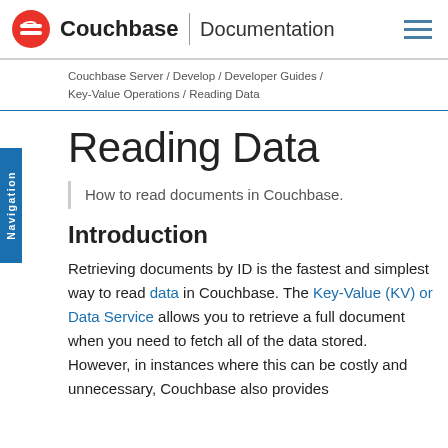Couchbase | Documentation
Couchbase Server / Develop / Developer Guides / Key-Value Operations / Reading Data
Reading Data
How to read documents in Couchbase.
Introduction
Retrieving documents by ID is the fastest and simplest way to read data in Couchbase. The Key-Value (KV) or Data Service allows you to retrieve a full document when you need to fetch all of the data stored. However, in instances where this can be costly and unnecessary, Couchbase also provides